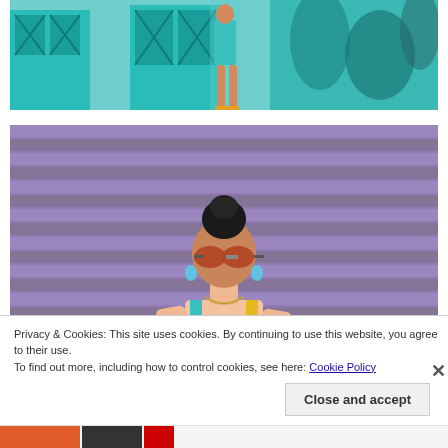[Figure (photo): Woman in turquoise dress standing in front of a storefront with teal/turquoise painted doors and colorful mural]
[Figure (photo): Woman with hair in bun wearing sunglasses and colorful top, standing in front of a purple/lavender striped wall]
Privacy & Cookies: This site uses cookies. By continuing to use this website, you agree to their use.
To find out more, including how to control cookies, see here: Cookie Policy
Close and accept